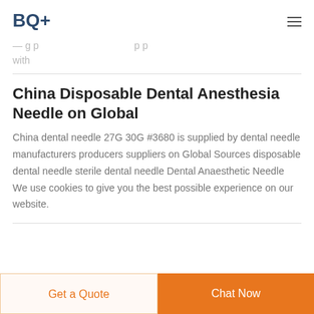BQ+
with
China Disposable Dental Anesthesia Needle on Global
China dental needle 27G 30G #3680 is supplied by dental needle manufacturers producers suppliers on Global Sources disposable dental needle sterile dental needle Dental Anaesthetic Needle We use cookies to give you the best possible experience on our website.
Get a Quote
Chat Now